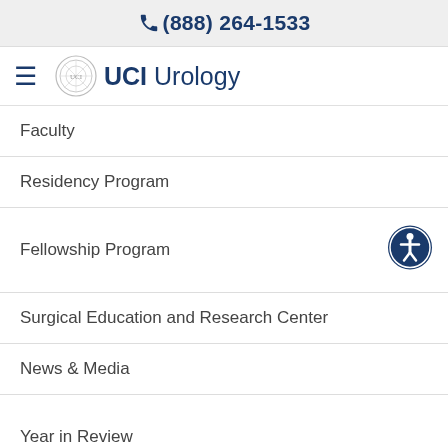(888) 264-1533
[Figure (logo): UCI Urology logo with seal and hamburger menu icon]
Faculty
Residency Program
Fellowship Program
Surgical Education and Research Center
News & Media
Year in Review
Video Gallery